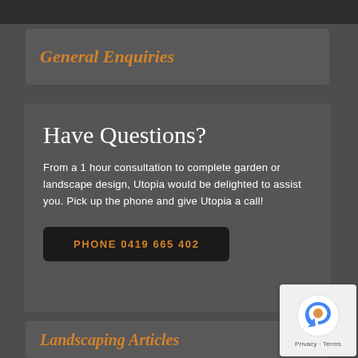General Enquiries
Have Questions?
From a 1 hour consultation to complete garden or landscape design, Utopia would be delighted to assist you. Pick up the phone and give Utopia a call!
PHONE 0419 665 402
Landscaping Articles
[Figure (logo): Google reCAPTCHA badge with Privacy and Terms links]